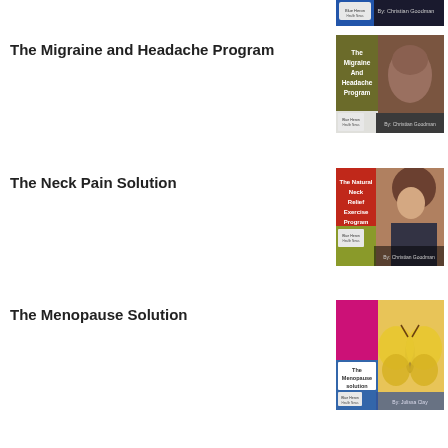[Figure (illustration): Partial book cover visible at top of page - dark/blue colored book by Christian Goodman]
The Migraine and Headache Program
[Figure (illustration): Book cover: The Migraine And Headache Program by Christian Goodman - olive/dark yellow and brown with a stone face sculpture]
The Neck Pain Solution
[Figure (illustration): Book cover: The Natural Neck Relief Exercise Program by Christian Goodman - red, olive/yellow-green with a woman touching her neck]
The Menopause Solution
[Figure (illustration): Book cover: The Menopause Solution by Julissa Clay - pink/magenta and blue with a yellow butterfly/moth]